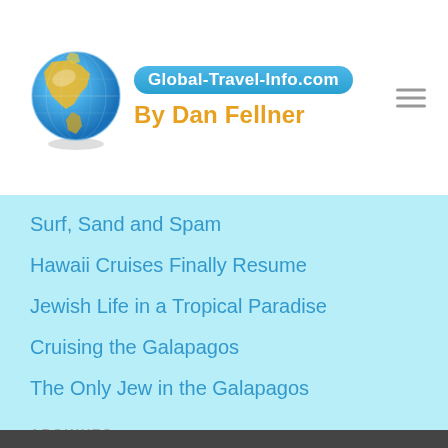[Figure (logo): Globe logo with North America visible, blue sphere with yellow/orange continents]
Global-Travel-Info.com By Dan Fellner
Surf, Sand and Spam
Hawaii Cruises Finally Resume
Jewish Life in a Tropical Paradise
Cruising the Galapagos
The Only Jew in the Galapagos
ARCHIVES
Select Month